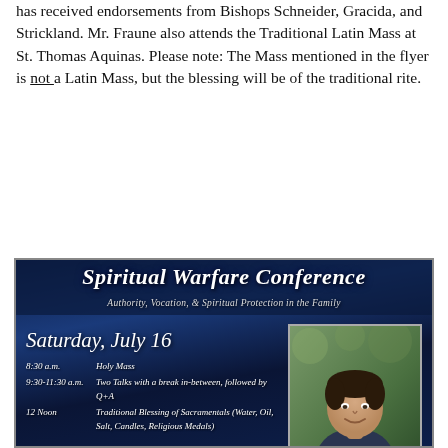has received endorsements from Bishops Schneider, Gracida, and Strickland. Mr. Fraune also attends the Traditional Latin Mass at St. Thomas Aquinas. Please note: The Mass mentioned in the flyer is not a Latin Mass, but the blessing will be of the traditional rite.
[Figure (infographic): Spiritual Warfare Conference flyer on dark blue background with tree silhouettes. Title: 'Spiritual Warfare Conference', subtitle: 'Authority, Vocation, & Spiritual Protection in the Family'. Date: Saturday, July 16. Schedule: 8:30 a.m. Holy Mass; 9:30-11:30 a.m. Two Talks with a break in-between, followed by Q+A; 12 Noon Traditional Blessing of Sacramentals (Water, Oil, Salt, Candles, Religious Medals). Photo of Charles D. Fraune with caption: 'with Speaker Charles D. Fraune author of the best-selling']